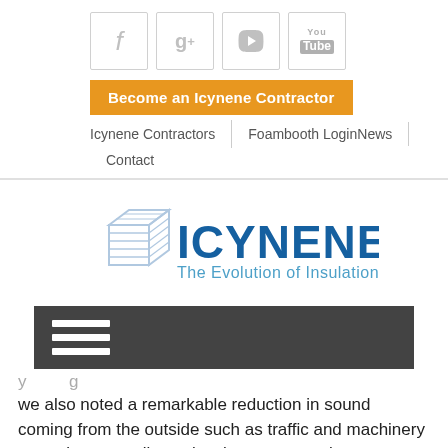[Figure (screenshot): Social media icons: Facebook (f), Google+ (g+), Twitter (bird), YouTube — shown as grey bordered boxes]
[Figure (logo): Icynene logo with tagline 'The Evolution of Insulation']
[Figure (screenshot): Dark grey navigation bar with hamburger menu icon (three white horizontal lines)]
we also noted a remarkable reduction in sound coming from the outside such as traffic and machinery operating as we live quite close to a very busy quarry, the foam was installed in a half day by the contractor who left the house spotless after the foam was installed"